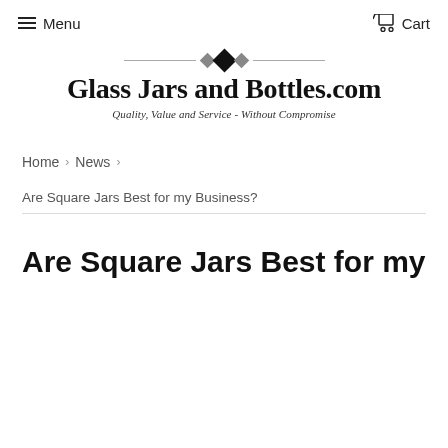Menu  Cart
[Figure (logo): Glass Jars and Bottles.com logo with decorative diamond motif and tagline 'Quality, Value and Service - Without Compromise']
Home > News >
Are Square Jars Best for my Business?
Are Square Jars Best for my